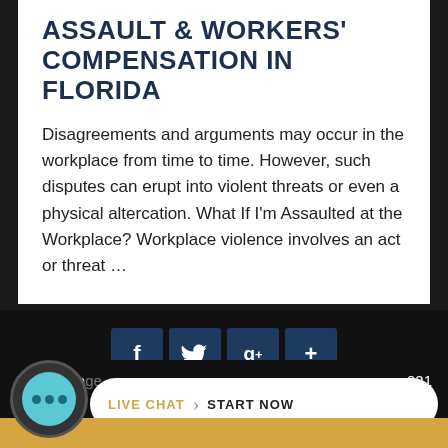ASSAULT & WORKERS' COMPENSATION IN FLORIDA
Disagreements and arguments may occur in the workplace from time to time. However, such disputes can erupt into violent threats or even a physical altercation. What If I'm Assaulted at the Workplace? Workplace violence involves an act or threat ...
[Figure (infographic): Social media sharing icons: Facebook (f), Twitter (bird), Google+ (g+), and a plus (+) button, displayed as dark blue square buttons]
Continue Reading
Posted Pa... 2021
[Figure (infographic): Live chat widget with chat bubble icon and 'LIVE CHAT > START NOW' button]